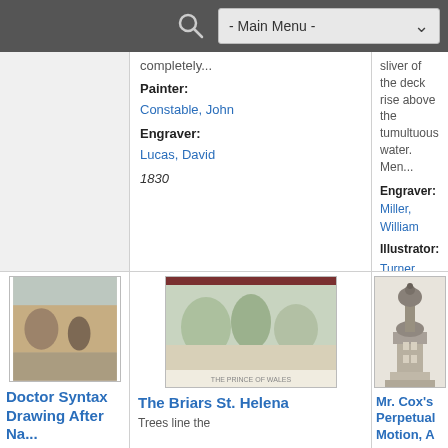- Main Menu -
| Col1 | Col2 | Col3 |
| --- | --- | --- |
| (empty) | completely...
Painter: Constable, John
Engraver: Lucas, David
1830 | sliver of the deck rise above the tumultuous water. Men...
Engraver: Miller, William
Illustrator: Turner, Joseph Mallord William
1835 |
| Doctor Syntax Drawing After Nature (thumbnail) | The Briars St. Helena (thumbnail) Trees line the | Mr. Cox's Perpetual Motion, A (thumbnail) |